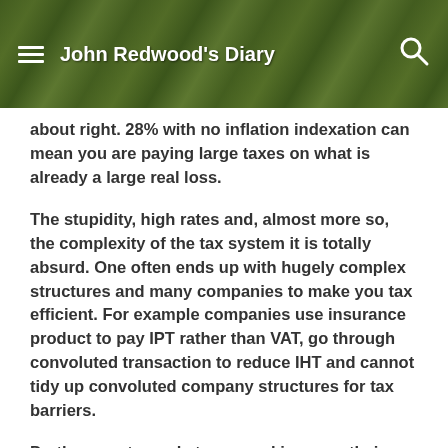John Redwood's Diary
about right. 28% with no inflation indexation can mean you are paying large taxes on what is already a large real loss.
The stupidity, high rates and, almost more so, the complexity of the tax system it is totally absurd. One often ends up with hugely complex structures and many companies to make you tax efficient. For example companies use insurance product to pay IPT rather than VAT, go through convoluted transaction to reduce IHT and cannot tidy up convoluted company structures for tax barriers.
Do they want people to run and improve their businesses or read endless tax books and spend a fortune on tax advice and largely parasitic pointless activity?